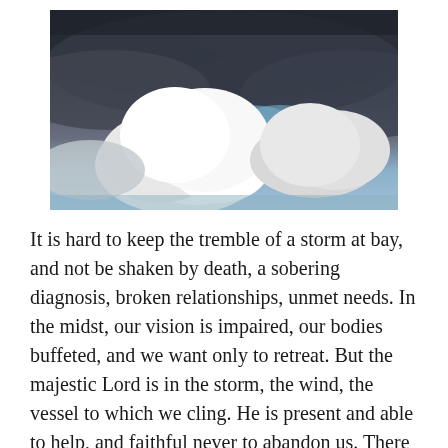[Figure (photo): A dramatic sky photograph showing dark storm clouds at the top with bright white cumulus clouds building up in the middle, and patches of blue sky visible. The scene conveys a powerful, stormy atmosphere.]
It is hard to keep the tremble of a storm at bay, and not be shaken by death, a sobering diagnosis, broken relationships, unmet needs. In the midst, our vision is impaired, our bodies buffeted, and we want only to retreat. But the majestic Lord is in the storm, the wind, the vessel to which we cling. He is present and able to help, and faithful never to abandon us. There